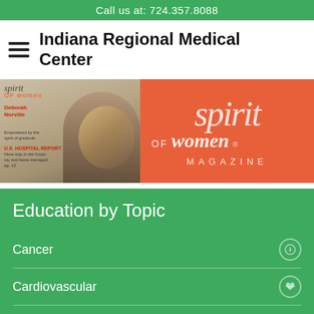Call us at: 724.357.8088
Indiana Regional Medical Center
[Figure (photo): Spirit of Women magazine cover showing Deborah Norville, alongside Spirit of Women Magazine logo on orange background]
Education by Topic
Cancer
Cardiovascular
Diabetes